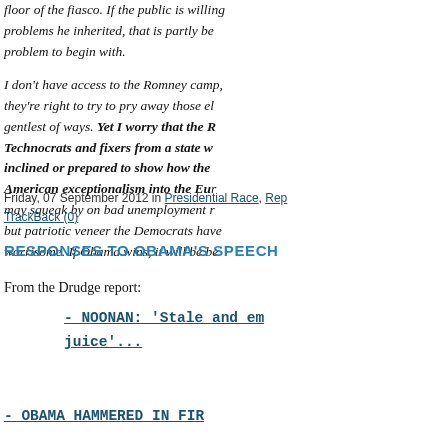floor of the fiasco. If the public is willing... problems he inherited, that is partly be... problem to begin with.

I don't have access to the Romney camp... they're right to try to pry away those e... gentlest of ways. Yet I worry that the R... Technocrats and fixers from a state w... inclined or prepared to show how the... American exceptionalism into the Eu... may squeak by on bad unemployment r... but patriotic veneer the Democrats hav... worrisome. If Obama wins, it will be b...
Friday, 07 September 2012 in Presidential Race, Rep... TrackBack (0)
RESPONSES TO OBAMA'S SPEECH
From the Drudge report:
- NOONAN: 'Stale and em... juice'...
- OBAMA HAMMERED IN FIR...